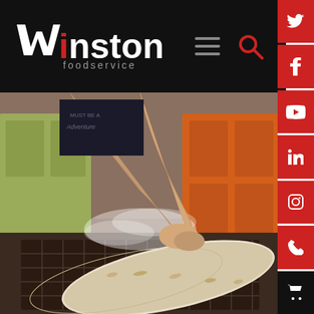[Figure (logo): Winston Foodservice logo — white stylized W with red dot, white text 'inston', grey subtext 'foodservice' — on black header bar]
[Figure (photo): Person coating/breading a large fish fillet by hand over a wire rack tray in a commercial kitchen setting with orange and green cabinets in background]
[Figure (infographic): Red sidebar with social media icons: Twitter, Facebook, YouTube, LinkedIn, Instagram, phone, and shopping cart icons]